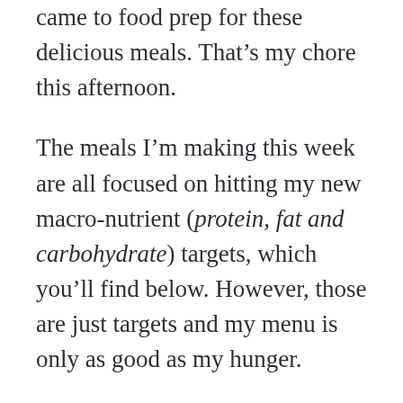came to food prep for these delicious meals. That’s my chore this afternoon.
The meals I’m making this week are all focused on hitting my new macro-nutrient (protein, fat and carbohydrate) targets, which you’ll find below. However, those are just targets and my menu is only as good as my hunger.
For example, today (Sunday), the menu shows I’m breaking my fast at lunch time with a New York strip